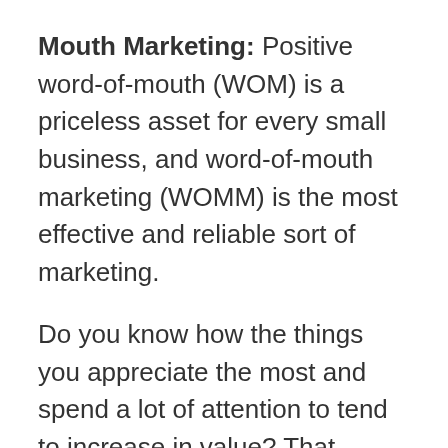Mouth Marketing: Positive word-of-mouth (WOM) is a priceless asset for every small business, and word-of-mouth marketing (WOMM) is the most effective and reliable sort of marketing.
Do you know how the things you appreciate the most and spend a lot of attention to tend to increase in value? That notion, I've discovered, applies equally well to business as it does to the rest of life.
Positive word-of-mouth buzz seems to increase when I truly focus on and value the things that positive word-of-mouth